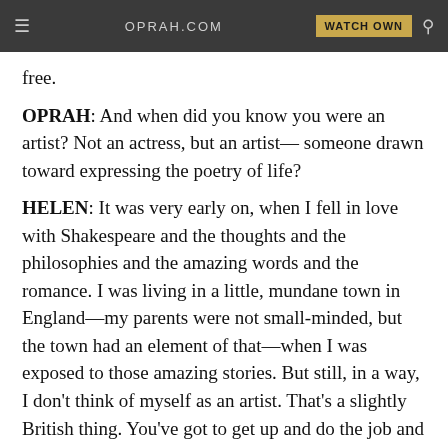OPRAH.COM  WATCH OWN
free.
OPRAH: And when did you know you were an artist? Not an actress, but an artist— someone drawn toward expressing the poetry of life?
HELEN: It was very early on, when I fell in love with Shakespeare and the thoughts and the philosophies and the amazing words and the romance. I was living in a little, mundane town in England—my parents were not small-minded, but the town had an element of that—when I was exposed to those amazing stories. But still, in a way, I don't think of myself as an artist. That's a slightly British thing. You've got to get up and do the job and get on with